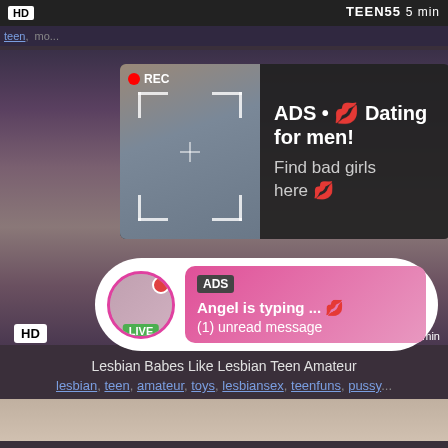[Figure (screenshot): Adult video website screenshot showing HD video thumbnails with overlaid ads. Top strip shows HD badge and TEEN55 label with 5 min. Main area shows a dark video background. An ad overlay shows a REC indicator with a photo and text 'ADS • Dating for men! Find bad girls here'. A live chat bubble shows 'ADS Angel is typing ... (1) unread message' with LIVE badge. Bottom shows HD badge and AG18 label with 5 min.]
teen, mo...
ADS • 💋 Dating for men! Find bad girls here 💋
ADS Angel is typing ... 💋 (1) unread message
Lesbian Babes Like Lesbian Teen Amateur
lesbian, teen, amateur, toys, lesbiansex, teenfuns, pussy...